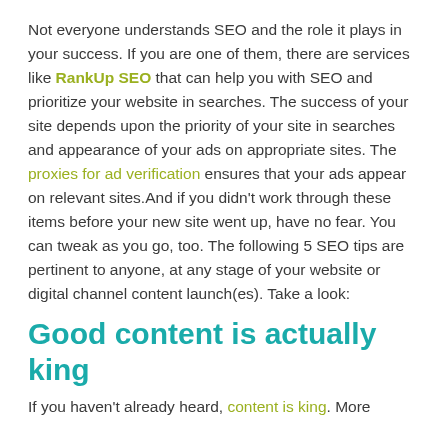Not everyone understands SEO and the role it plays in your success. If you are one of them, there are services like RankUp SEO that can help you with SEO and prioritize your website in searches. The success of your site depends upon the priority of your site in searches and appearance of your ads on appropriate sites. The proxies for ad verification ensures that your ads appear on relevant sites.And if you didn't work through these items before your new site went up, have no fear. You can tweak as you go, too. The following 5 SEO tips are pertinent to anyone, at any stage of your website or digital channel content launch(es). Take a look:
Good content is actually king
If you haven't already heard, content is king. More